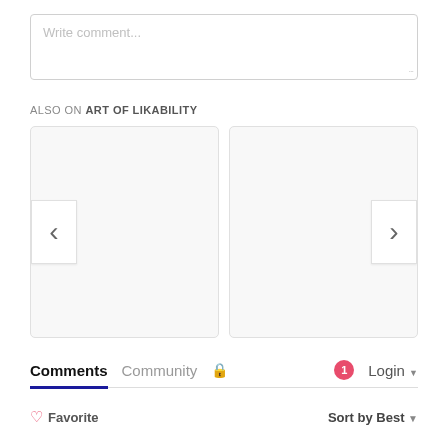[Figure (screenshot): Comment text input box with placeholder text 'Write comment...']
ALSO ON ART OF LIKABILITY
[Figure (screenshot): Two card panels side by side with left chevron navigation arrow on left card and right chevron navigation arrow on right card]
Comments  Community  🔒  1  Login ▾
♡ Favorite    Sort by Best ▾